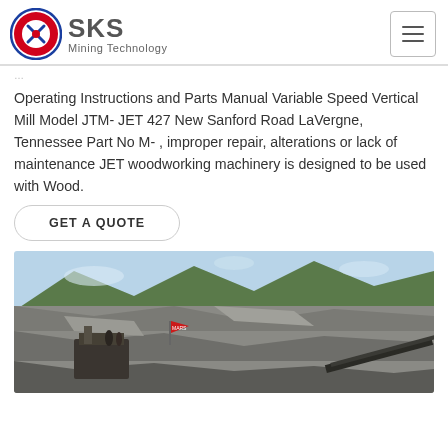[Figure (logo): SKS Mining Technology logo with red and blue circular emblem and grey text]
Operating Instructions and Parts Manual Variable Speed Vertical Mill Model JTM- JET 427 New Sanford Road LaVergne, Tennessee Part No M- , improper repair, alterations or lack of maintenance JET woodworking machinery is designed to be used with Wood.
GET A QUOTE
[Figure (photo): Outdoor mining quarry site with industrial machinery, rocky terrain, hills and mountains in background, red flag visible, workers on platform]